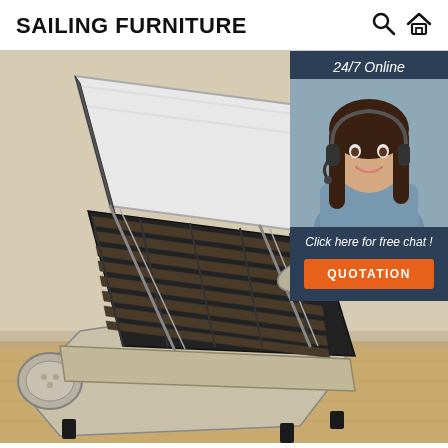SAILING FURNITURE
[Figure (photo): A crushed velvet ottoman storage bed in silver/champagne color with the mattress raised up to show the slatted storage base underneath. The bed has a sleigh-style rolled headboard and footboard with button tufting. The scene is in a bedroom with neutral walls and wood flooring. An overlay panel in the top-right shows a customer service agent with a headset, labeled '24/7 Online' and 'Click here for free chat!' with a QUOTATION button.]